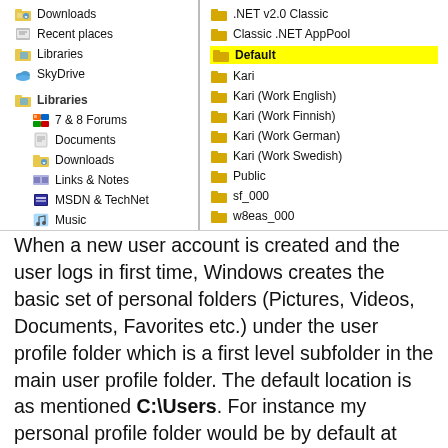[Figure (screenshot): Windows Explorer navigation pane showing left panel with Downloads, Recent places, Libraries, SkyDrive items and expanded Libraries section with 7 & 8 Forums, Documents, Downloads, Links & Notes, MSDN & TechNet, Music; right panel showing .NET v2.0 Classic, Classic .NET AppPool, Default (highlighted in yellow), Kari, Kari (Work English), Kari (Work Finnish), Kari (Work German), Kari (Work Swedish), Public, sf_000, w8eas_000]
When a new user account is created and the user logs in first time, Windows creates the basic set of personal folders (Pictures, Videos, Documents, Favorites etc.) under the user profile folder which is a first level subfolder in the main user profile folder. The default location is as mentioned C:\Users. For instance my personal profile folder would be by default at C:\Users\Kari and my Documents folder at C:\Users\Kari\Documents.